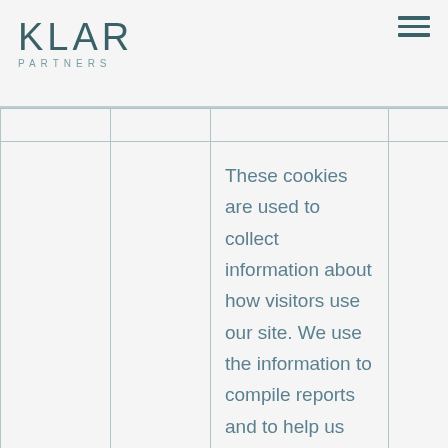KLAR PARTNERS
|  |  |  |  |
| --- | --- | --- | --- |
|  |  | These cookies are used to collect information about how visitors use our site. We use the information to compile reports and to help us improve the site |  |